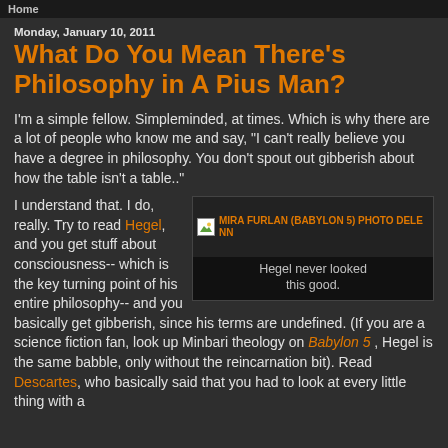Home
Monday, January 10, 2011
What Do You Mean There's Philosophy in A Pius Man?
I'm a simple fellow. Simpleminded, at times. Which is why there are a lot of people who know me and say, "I can't really believe you have a degree in philosophy. You don't spout out gibberish about how the table isn't a table.."
[Figure (photo): Image placeholder with text: MIRA FURLAN (BABYLON 5) PHOTO DELENN. Caption: Hegel never looked this good.]
Hegel never looked this good.
I understand that. I do, really. Try to read Hegel, and you get stuff about consciousness-- which is the key turning point of his entire philosophy-- and you basically get gibberish, since his terms are undefined. (If you are a science fiction fan, look up Minbari theology on Babylon 5, Hegel is the same babble, only without the reincarnation bit). Read Descartes, who basically said that you had to look at every little thing with a